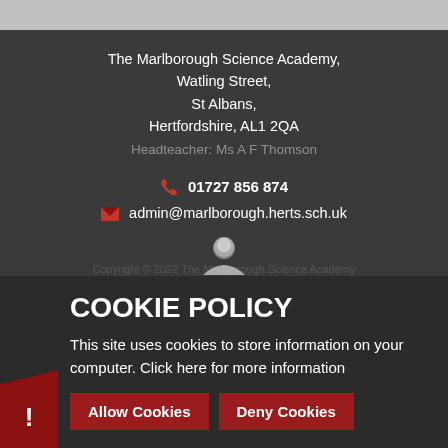The Marlborough Science Academy, Watling Street, St Albans, Hertfordshire, AL1 2QA
Headteacher: Ms A F Thomson
01727 856 874
admin@marlborough.herts.sch.uk
COOKIE POLICY
This site uses cookies to store information on your computer. Click here for more information
Allow Cookies   Deny Cookies